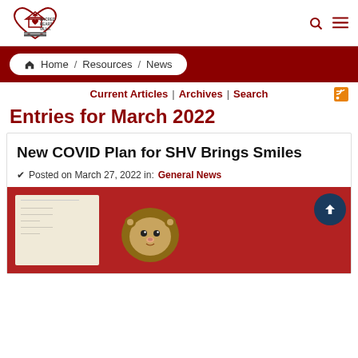[Figure (logo): Sacred Heart Villa logo with heart and cross icon]
Home / Resources / News
Current Articles | Archives | Search
Entries for March 2022
New COVID Plan for SHV Brings Smiles
✔ Posted on March 27, 2022 in: General News
[Figure (photo): Photo showing a stuffed lion toy and a document/paper on a red background]